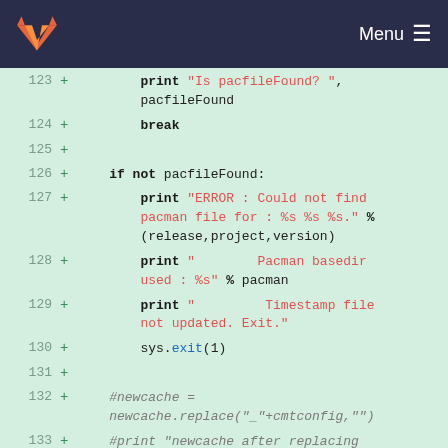[Figure (screenshot): GitLab navigation bar with orange/red fox logo on left and Menu with hamburger icon on right, dark navy background]
123 + print "Is pacfileFound? ", pacfileFound
124 + break
125 +
126 + if not pacfileFound:
127 + print "ERROR : Could not find pacman file for : %s %s %s." % (release,project,version)
128 + print " Pacman basedir used : %s" % pacman
129 + print " Timestamp file not updated. Exit."
130 + sys.exit(1)
131 +
132 + #newcache = newcache.replace("_"+cmtconfig,"")
133 + #print "newcache after replacing in cmtconfig:", newcache
134 + #newcache = newcache.replace(project+"_","")